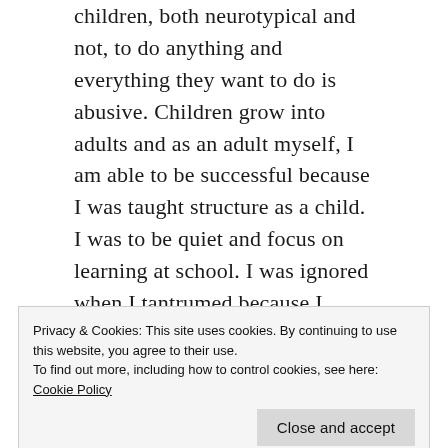children, both neurotypical and not, to do anything and everything they want to do is abusive. Children grow into adults and as an adult myself, I am able to be successful because I was taught structure as a child. I was to be quiet and focus on learning at school. I was ignored when I tantrumed because I wanted chocolate but my mom said no. I earned rewards for good behaviour. A child on the spectrum should also be taught
Privacy & Cookies: This site uses cookies. By continuing to use this website, you agree to their use.
To find out more, including how to control cookies, see here: Cookie Policy
what we're working on, and are never